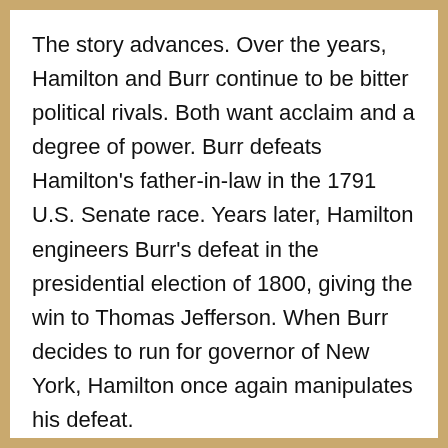The story advances. Over the years, Hamilton and Burr continue to be bitter political rivals. Both want acclaim and a degree of power. Burr defeats Hamilton's father-in-law in the 1791 U.S. Senate race. Years later, Hamilton engineers Burr's defeat in the presidential election of 1800, giving the win to Thomas Jefferson. When Burr decides to run for governor of New York, Hamilton once again manipulates his defeat.
Relentless competition/ambition is their downfall. (Two current day characters ruined by their arrogant drive came to mind for me: Richard Nixon and athlete Lance Armstrong.)